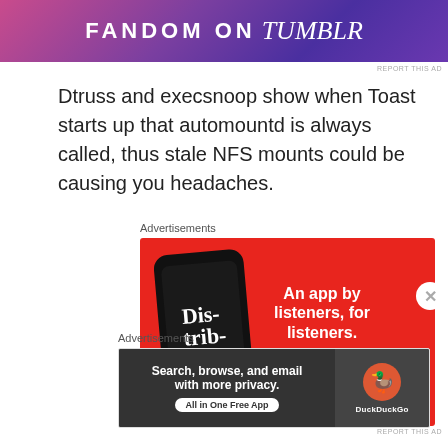[Figure (other): FANDOM ON tumblr banner advertisement with colorful illustrated background]
REPORT THIS AD
Dtruss and execsnoop show when Toast starts up that automountd is always called, thus stale NFS mounts could be causing you headaches.
Advertisements
[Figure (other): Red advertisement banner for a podcast app: 'An app by listeners, for listeners.' with a phone showing 'Distributed' podcast and a Download now button]
Advertisements
[Figure (other): DuckDuckGo advertisement: Search, browse, and email with more privacy. All in One Free App]